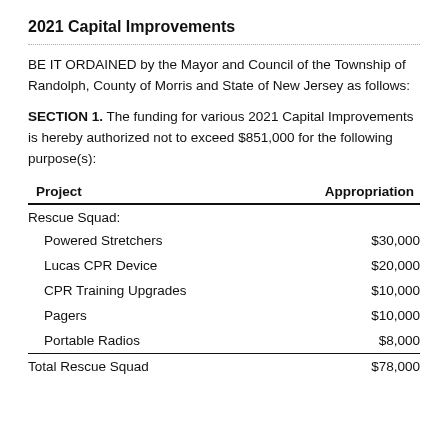2021 Capital Improvements
BE IT ORDAINED by the Mayor and Council of the Township of Randolph, County of Morris and State of New Jersey as follows:
SECTION 1. The funding for various 2021 Capital Improvements is hereby authorized not to exceed $851,000 for the following purpose(s):
| Project | Appropriation |
| --- | --- |
| Rescue Squad: |  |
| Powered Stretchers | $30,000 |
| Lucas CPR Device | $20,000 |
| CPR Training Upgrades | $10,000 |
| Pagers | $10,000 |
| Portable Radios | $8,000 |
| Total Rescue Squad | $78,000 |